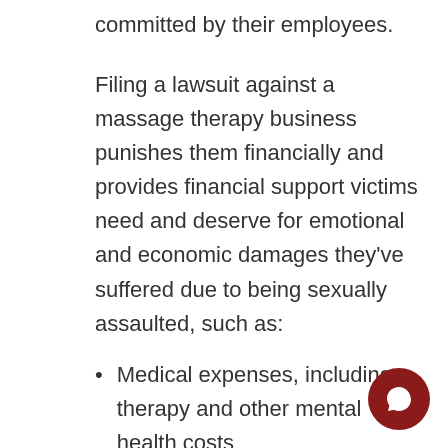committed by their employees.
Filing a lawsuit against a massage therapy business punishes them financially and provides financial support victims need and deserve for emotional and economic damages they've suffered due to being sexually assaulted, such as:
Medical expenses, including therapy and other mental health costs